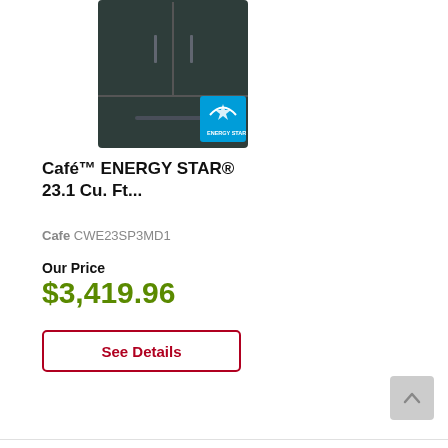[Figure (photo): Dark slate/matte black French door refrigerator with ENERGY STAR badge overlay in lower right of image]
Café™ ENERGY STAR® 23.1 Cu. Ft...
Cafe CWE23SP3MD1
Our Price
$3,419.96
See Details